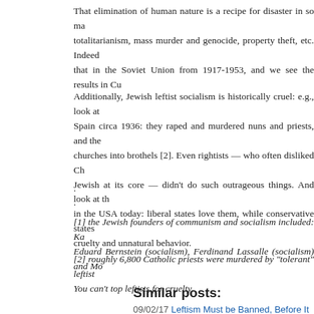That elimination of human nature is a recipe for disaster in so ma... totalitarianism, mass murder and genocide, property theft, etc. Indeed... that in the Soviet Union from 1917-1953, and we see the results in Cu...
Additionally, Jewish leftist socialism is historically cruel: e.g., look at... Spain circa 1936: they raped and murdered nuns and priests, and the... churches into brothels [2]. Even rightists — who often disliked Ch... Jewish at its core — didn't do such outrageous things. And look at th... in the USA today: liberal states love them, while conservative states... cruelty and unnatural behavior.
·
·
[1] the Jewish founders of communism and socialism included: Ka... Eduard Bernstein (socialism), Ferdinand Lassalle (socialism) and Mo...
[2] roughly 6,800 Catholic priests were murdered by "tolerant" leftist... You can't top leftists for cruelty.
Similar posts:
09/02/17 Leftism Must be Banned, Before It Destroys the West 72...
05/04/18 Leftism Kills in Venezuela 66% similar
12/02/20 (Re-Post) It Only Took Four Jews to Destroy a World s...